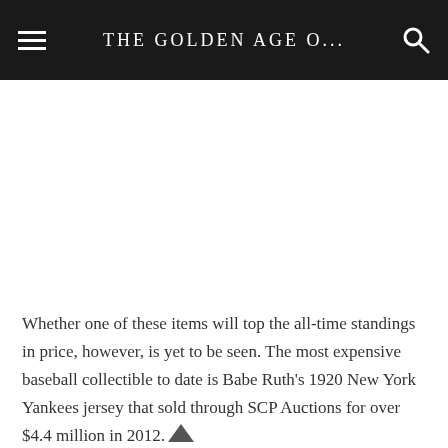THE GOLDEN AGE O...
[Figure (other): Advertisement or blank white space area below the header navigation bar]
Whether one of these items will top the all-time standings in price, however, is yet to be seen. The most expensive baseball collectible to date is Babe Ruth's 1920 New York Yankees jersey that sold through SCP Auctions for over $4.4 million in 2012.